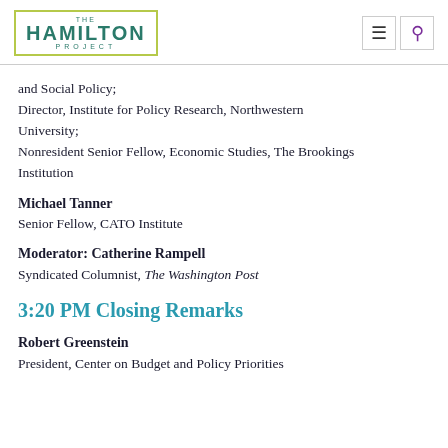THE HAMILTON PROJECT
and Social Policy;
Director, Institute for Policy Research, Northwestern University;
Nonresident Senior Fellow, Economic Studies, The Brookings Institution
Michael Tanner
Senior Fellow, CATO Institute
Moderator: Catherine Rampell
Syndicated Columnist, The Washington Post
3:20 PM Closing Remarks
Robert Greenstein
President, Center on Budget and Policy Priorities